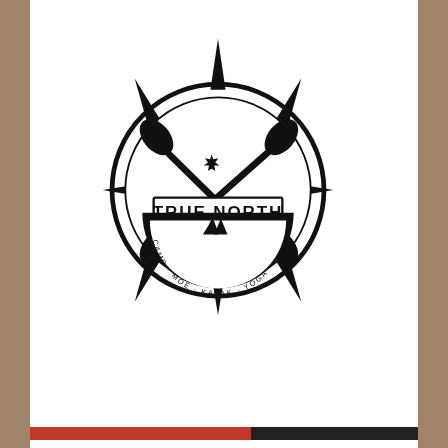[Figure (logo): True North Expeditions circular compass logo with crossed paddles, maple leaf, and text 'TRUE NORTH EXPEDITIONS - CAMP - MOE - KAYAK - YOGA']
[Figure (logo): Green mountain peak logo, partially visible at bottom of page]
Privacy & Cookies: This site uses cookies. By continuing to use this website, you agree to their use.
To find out more, including how to control cookies, see here: Cookie Policy
Close and accept